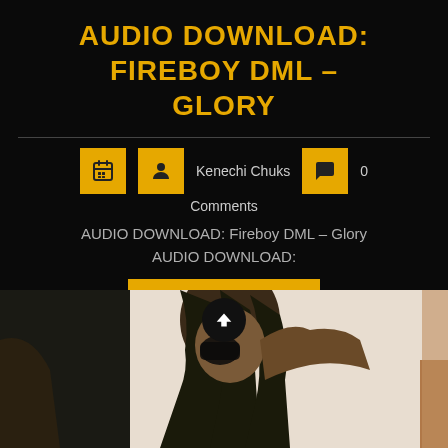AUDIO DOWNLOAD: FIREBOY DML – GLORY
Kenechi Chuks
0 Comments
AUDIO DOWNLOAD: Fireboy DML – Glory AUDIO DOWNLOAD:
Read More
[Figure (photo): Photo of a person (Fireboy DML) with dreadlocks, holding something near their face, against a light background. A scroll-up arrow button overlays the image.]